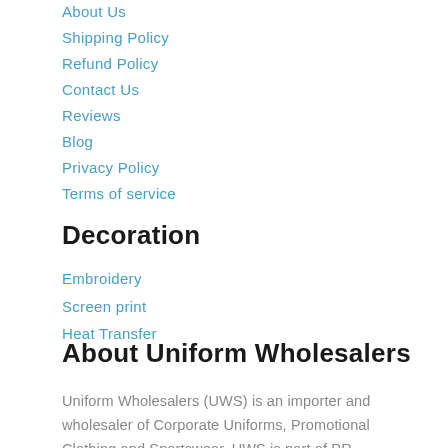About Us
Shipping Policy
Refund Policy
Contact Us
Reviews
Blog
Privacy Policy
Terms of service
Decoration
Embroidery
Screen print
Heat Transfer
About Uniform Wholesalers
Uniform Wholesalers (UWS) is an importer and wholesaler of Corporate Uniforms, Promotional Clothing and Sportswear. UWS is part of PR